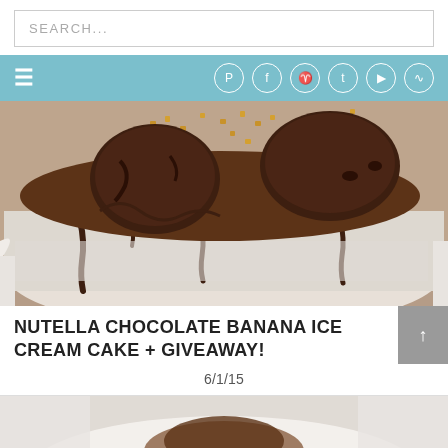SEARCH...
[Figure (screenshot): Navigation bar with hamburger menu and social media icons (Pinterest, Facebook, Instagram, Twitter, YouTube, RSS) on teal/blue background]
[Figure (photo): Close-up photo of a chocolate banana ice cream cake with Nutella, chocolate drizzle, and chopped nuts on top]
NUTELLA CHOCOLATE BANANA ICE CREAM CAKE + GIVEAWAY!
6/1/15
[Figure (photo): Second food photo partially visible at the bottom of the page, showing another dessert item]